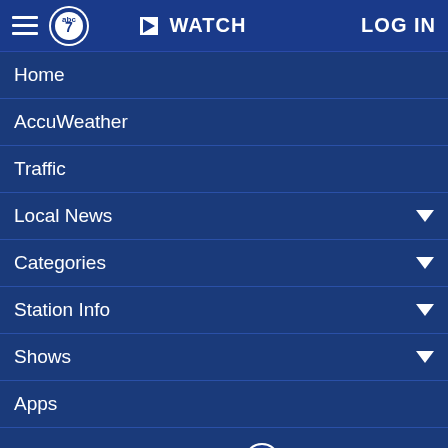WATCH  LOG IN
Home
AccuWeather
Traffic
Local News
Categories
Station Info
Shows
Apps
[Figure (logo): Eyewitness News abc7 logo with text 'EYEWITNESS NEWS abc7NY WABC-TV']
Follow Us:
Privacy Policy